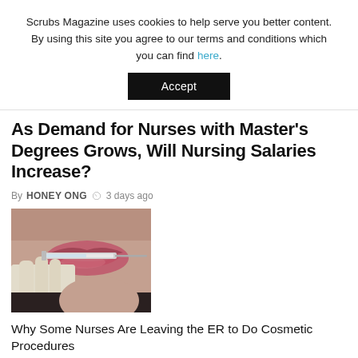Scrubs Magazine uses cookies to help serve you better content. By using this site you agree to our terms and conditions which you can find here.
Accept
As Demand for Nurses with Master's Degrees Grows, Will Nursing Salaries Increase?
By HONEY ONG  3 days ago
[Figure (photo): Close-up photo of a person receiving a cosmetic lip injection procedure with a syringe held by a gloved hand.]
Why Some Nurses Are Leaving the ER to Do Cosmetic Procedures
August 8, 2022